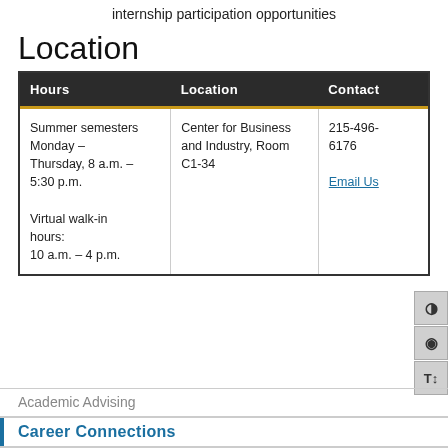internship participation opportunities
Location
| Hours | Location | Contact |
| --- | --- | --- |
| Summer semesters Monday – Thursday, 8 a.m. – 5:30 p.m.

Virtual walk-in hours:
10 a.m. – 4 p.m. | Center for Business and Industry, Room C1-34 | 215-496-6176

Email Us |
Academic Advising
Career Connections